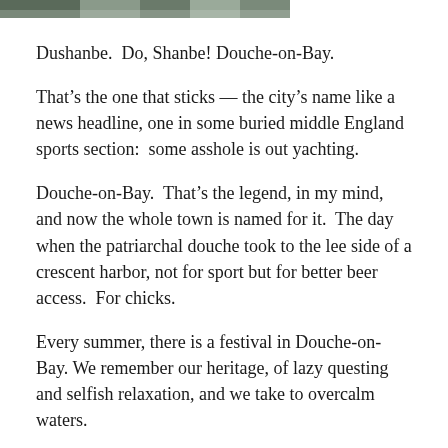[Figure (photo): Partial top strip of a photograph showing buildings and trees, cropped at top of page]
Dushanbe.  Do, Shanbe! Douche-on-Bay.
That’s the one that sticks — the city’s name like a news headline, one in some buried middle England sports section:  some asshole is out yachting.
Douche-on-Bay.  That’s the legend, in my mind, and now the whole town is named for it.  The day when the patriarchal douche took to the lee side of a crescent harbor, not for sport but for better beer access.  For chicks.
Every summer, there is a festival in Douche-on-Bay. We remember our heritage, of lazy questing and selfish relaxation, and we take to overcalm waters.
What I mean is: today I am a lazy explorer.  Body tired